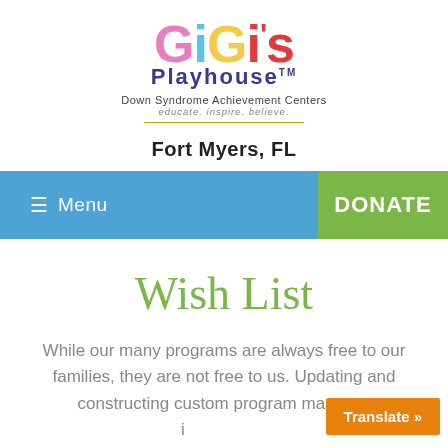[Figure (logo): GiGi's Playhouse logo with colorful letters, subtitle 'Down Syndrome Achievement Centers', tagline 'educate. inspire. believe.']
Fort Myers, FL
Menu   DONATE
Wish List
While our many programs are always free to our families, they are not free to us. Updating and constructing custom program ma... i...